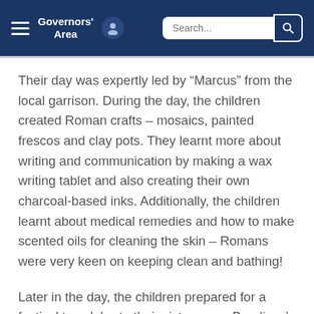Governors' Area
Their day was expertly led by “Marcus” from the local garrison. During the day, the children created Roman crafts – mosaics, painted frescos and clay pots. They learnt more about writing and communication by making a wax writing tablet and also creating their own charcoal-based inks. Additionally, the children learnt about medical remedies and how to make scented oils for cleaning the skin – Romans were very keen on keeping clean and bathing!
Later in the day, the children prepared for a festival to celebrate their victory over Boudicca’s Iceni tribe. They rehearsed and